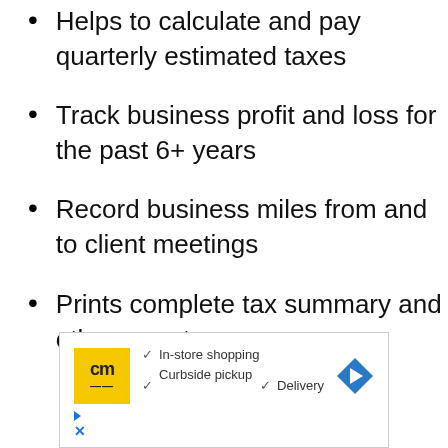Helps to calculate and pay quarterly estimated taxes
Track business profit and loss for the past 6+ years
Record business miles from and to client meetings
Prints complete tax summary and other reports
[Figure (other): Advertisement banner showing 'cm' logo with yellow background, checkmarks for In-store shopping, Curbside pickup, Delivery, and a blue diamond arrow icon]